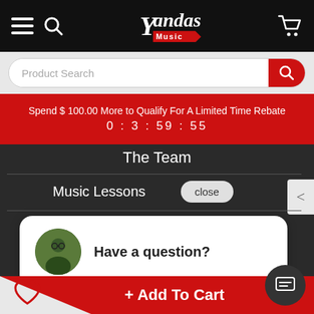Yandas Music - header navigation bar
Product Search
Spend $ 100.00 More to Qualify For A Limited Time Rebate
0 : 3 : 59 : 55
The Team
Music Lessons   close
Have a question?
7 visitors have this item in their cart right now 🛒
+ Add To Cart